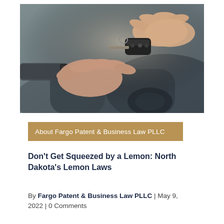[Figure (photo): Close-up photo of two hands exchanging car keys, with a blurred dark car in the background.]
About Fargo Patent & Business Law PLLC
Don't Get Squeezed by a Lemon: North Dakota's Lemon Laws
By Fargo Patent & Business Law PLLC | May 9, 2022 | 0 Comments